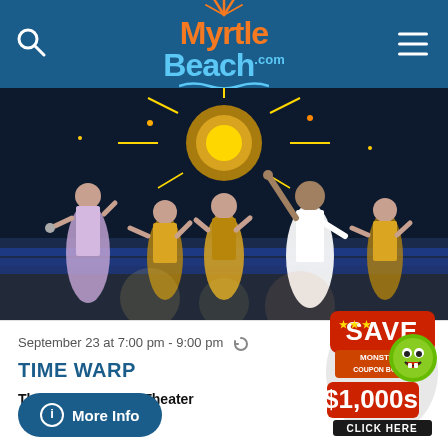MyrtleBeach.com
[Figure (photo): Performance photo showing dancers and a singer on stage at the Carolina Opry Theater. Women in gold fringe costumes dance while a man in a white suit raises his arm beneath a sparkling disco ball with fireworks effects.]
September 23 at 7:00 pm - 9:00 pm
TIME WARP
The Carolina Opry Theater
[Figure (logo): Monster Coupon Book badge: SAVE $1,000s CLICK HERE with green monster character]
More Info